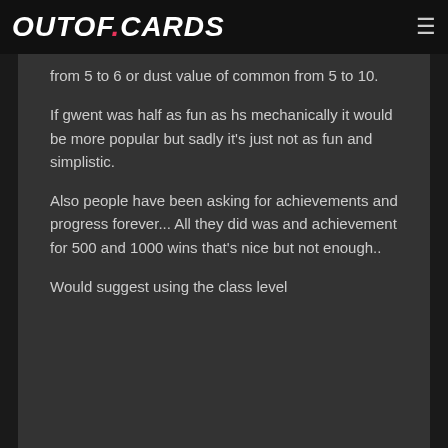OUTOF.CARDS
from 5 to 6 or dust value of common from 5 to 10.
If gwent was half as fun as hs mechanically it would be more popular but sadly it's just not as fun and simplistic.
Also people have been asking for achievements and progress forever... All they did was and achievement for 500 and 1000 wins that's nice but not enough..
Would suggest using the class level